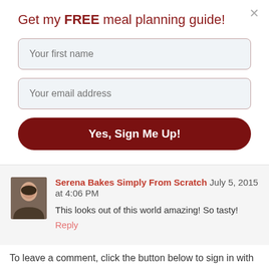Get my FREE meal planning guide!
[Figure (screenshot): Input field with placeholder text 'Your first name']
[Figure (screenshot): Input field with placeholder text 'Your email address']
[Figure (screenshot): Submit button labeled 'Yes, Sign Me Up!']
Serena Bakes Simply From Scratch  July 5, 2015 at 4:06 PM
This looks out of this world amazing! So tasty!
Reply
To leave a comment, click the button below to sign in with Google.
SIGN IN WITH GOOGLE